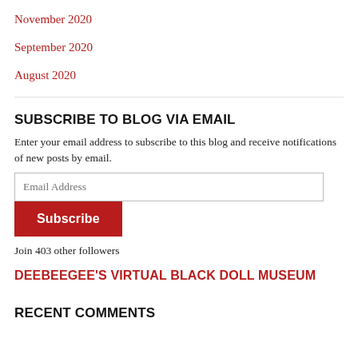November 2020
September 2020
August 2020
SUBSCRIBE TO BLOG VIA EMAIL
Enter your email address to subscribe to this blog and receive notifications of new posts by email.
Email Address
Subscribe
Join 403 other followers
DEEBEEGEE'S VIRTUAL BLACK DOLL MUSEUM
RECENT COMMENTS